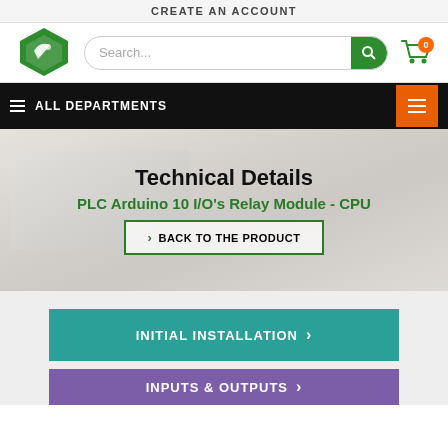CREATE AN ACCOUNT
[Figure (logo): Industrial Shields logo - green hexagonal shape with leaf/circuit icon]
Search...
Shopping cart with 0 items
ALL DEPARTMENTS
Technical Details
PLC Arduino 10 I/O's Relay Module - CPU
> BACK TO THE PRODUCT
INITIAL INSTALLATION >
INPUTS & OUTPUTS >